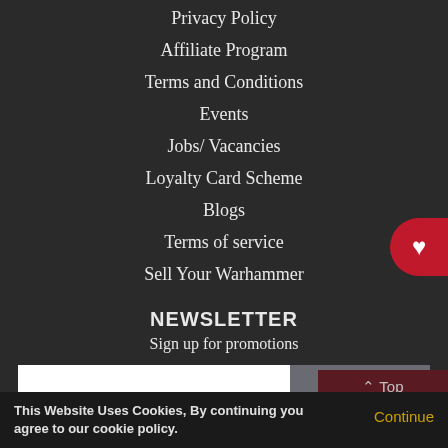Privacy Policy
Affiliate Program
Terms and Conditions
Events
Jobs/ Vacancies
Loyalty Card Scheme
Blogs
Terms of service
Sell Your Warhammer
NEWSLETTER
Sign up for promotions
This Website Uses Cookies, By continuing you agree to our cookie policy.
Continue